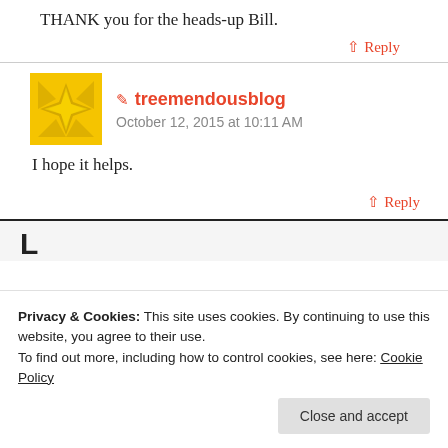THANK you for the heads-up Bill.
↑ Reply
✏ treemendousblog
October 12, 2015 at 10:11 AM
I hope it helps.
↑ Reply
Privacy & Cookies: This site uses cookies. By continuing to use this website, you agree to their use.
To find out more, including how to control cookies, see here: Cookie Policy
Close and accept